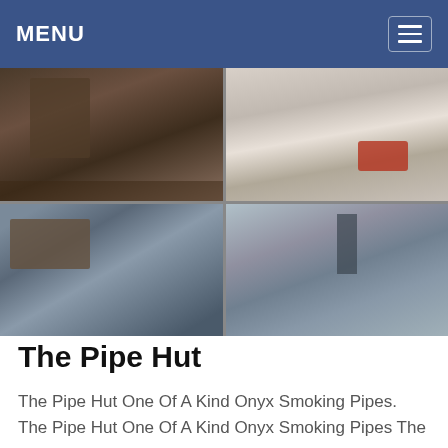MENU
[Figure (photo): A 2x2 grid of industrial/mining site photographs showing heavy machinery, a dump truck on a quarry slope, industrial equipment with conveyor belts, and an open industrial facility.]
The Pipe Hut
The Pipe Hut One Of A Kind Onyx Smoking Pipes. The Pipe Hut One Of A Kind Onyx Smoking Pipes The Pipe Hut One Of A Kind Onyx Smoking Pipes. Hand Carved One Of A Kind Onyx Stone Smoking Pipes. Prices on stock Onyx